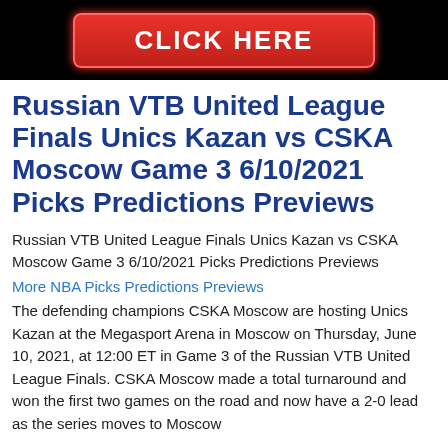[Figure (other): Black banner with red button labeled CLICK HERE]
Russian VTB United League Finals Unics Kazan vs CSKA Moscow Game 3 6/10/2021 Picks Predictions Previews
Russian VTB United League Finals Unics Kazan vs CSKA Moscow Game 3 6/10/2021 Picks Predictions Previews
More NBA Picks Predictions Previews
The defending champions CSKA Moscow are hosting Unics Kazan at the Megasport Arena in Moscow on Thursday, June 10, 2021, at 12:00 ET in Game 3 of the Russian VTB United League Finals. CSKA Moscow made a total turnaround and won the first two games on the road and now have a 2-0 lead as the series moves to Moscow